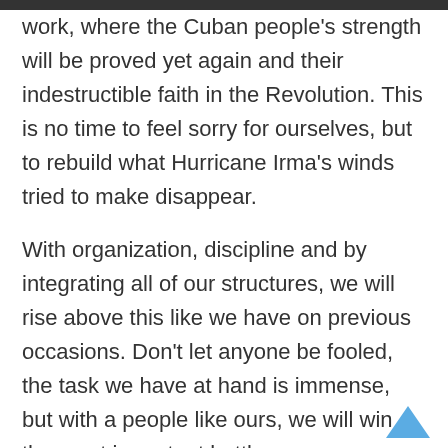work, where the Cuban people's strength will be proved yet again and their indestructible faith in the Revolution. This is no time to feel sorry for ourselves, but to rebuild what Hurricane Irma's winds tried to make disappear.
With organization, discipline and by integrating all of our structures, we will rise above this like we have on previous occasions. Don't let anyone be fooled, the task we have at hand is immense, but with a people like ours, we will win the most important battle: recovery.